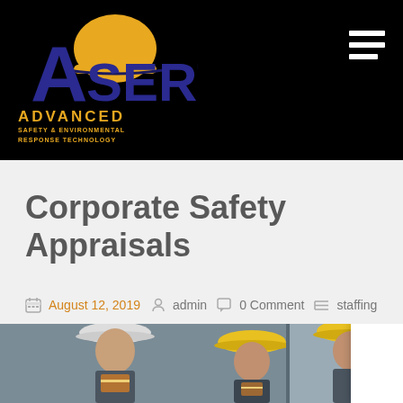ASERT ADVANCED SAFETY & ENVIRONMENTAL RESPONSE TECHNOLOGY
Corporate Safety Appraisals
August 12, 2019  admin  0 Comment  staffing
[Figure (photo): Two construction workers wearing hard hats, one white and one yellow, in an industrial setting]